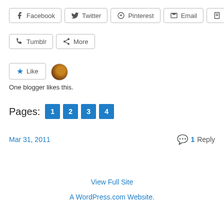Facebook  Twitter  Pinterest  Email  Print
Tumblr  More
Like  One blogger likes this.
Pages: 1 2 3 4
Mar 31, 2011  1 Reply
View Full Site
A WordPress.com Website.